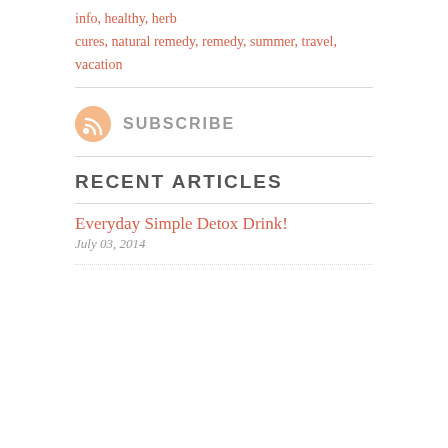info, healthy, herb
cures, natural remedy, remedy, summer, travel,
vacation
SUBSCRIBE
RECENT ARTICLES
Everyday Simple Detox Drink!
July 03, 2014